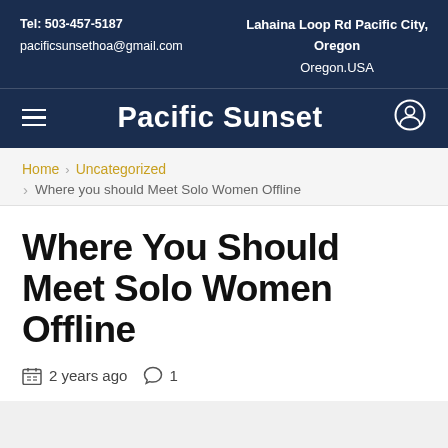Tel: 503-457-5187 | pacificsunsethoa@gmail.com | Lahaina Loop Rd Pacific City, Oregon | Oregon.USA
Pacific Sunset
Home > Uncategorized > Where you should Meet Solo Women Offline
Where You Should Meet Solo Women Offline
2 years ago  1